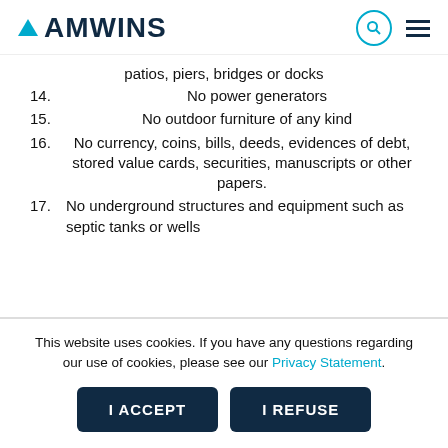AMWINS
patios, piers, bridges or docks
14. No power generators
15. No outdoor furniture of any kind
16. No currency, coins, bills, deeds, evidences of debt, stored value cards, securities, manuscripts or other papers.
17. No underground structures and equipment such as septic tanks or wells
This website uses cookies. If you have any questions regarding our use of cookies, please see our Privacy Statement.